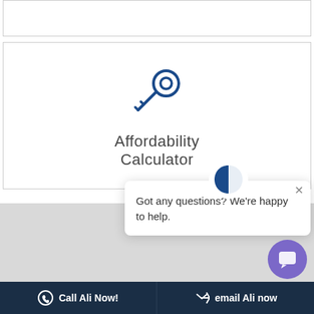[Figure (other): Empty top box with border]
[Figure (illustration): Affordability Calculator card with blue key icon]
Affordability
Calculator
[Figure (photo): Grey background section with a bald man's face visible]
[Figure (logo): Chat popup with company logo (blue and red A icon), close X button, and text: Got any questions? We're happy to help.]
Got any questions? We're happy to help.
[Figure (other): Purple chat bubble button]
Call Ali Now! | email Ali now